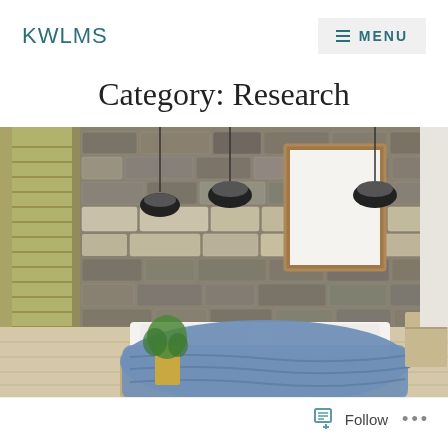KWLMS  ≡ MENU
Category: Research
[Figure (photo): Interior photography of a modern bedroom with a stone accent wall, pallet bed with blue bedding, hanging black pendant lights, a framed blank canvas on the wall, and large windows showing greenery outside.]
Follow  ...